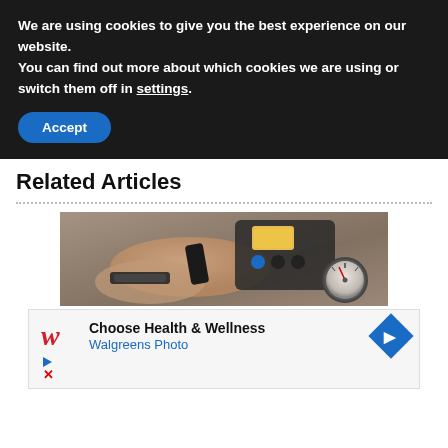We are using cookies to give you the best experience on our website.
You can find out more about which cookies we are using or switch them off in settings.
Accept
Related Articles
[Figure (photo): A person's hand operating an espresso machine with a digital display screen and pressure gauge visible]
[Figure (infographic): Walgreens advertisement: Choose Health & Wellness, Walgreens Photo, with Walgreens logo and blue arrow icon]